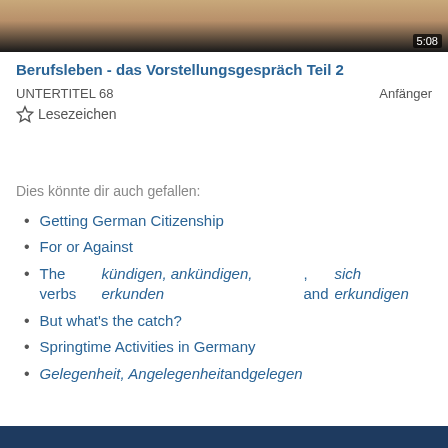[Figure (screenshot): Video thumbnail showing a person, partially cropped, with duration badge showing 5:08]
Berufsleben - das Vorstellungsgespräch Teil 2
UNTERTITEL 68    Anfänger
☆ Lesezeichen
Dies könnte dir auch gefallen:
Getting German Citizenship
For or Against
The verbs kündigen, ankündigen, erkunden, and sich erkundigen
But what's the catch?
Springtime Activities in Germany
Gelegenheit, Angelegenheit and gelegen